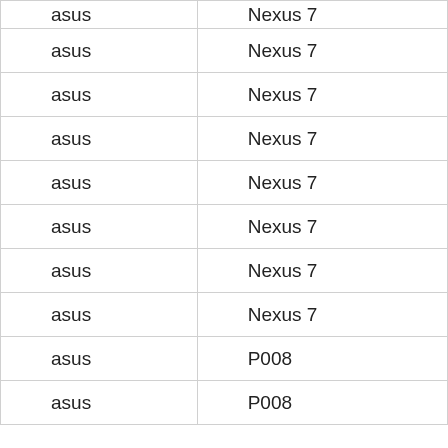| asus | Nexus 7 |
| asus | Nexus 7 |
| asus | Nexus 7 |
| asus | Nexus 7 |
| asus | Nexus 7 |
| asus | Nexus 7 |
| asus | Nexus 7 |
| asus | Nexus 7 |
| asus | P008 |
| asus | P008 |